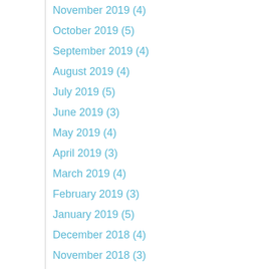November 2019 (4)
October 2019 (5)
September 2019 (4)
August 2019 (4)
July 2019 (5)
June 2019 (3)
May 2019 (4)
April 2019 (3)
March 2019 (4)
February 2019 (3)
January 2019 (5)
December 2018 (4)
November 2018 (3)
October 2018 (5)
September 2018 (4)
August 2018 (5)
July 2018 (4)